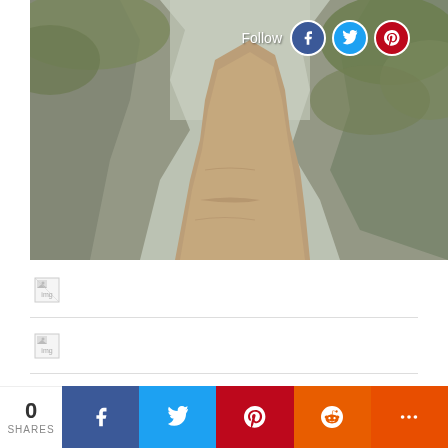[Figure (photo): Aerial view of a mountain canyon with a turbid brown river flowing between steep rocky cliffs covered with green vegetation. Social media follow buttons (Facebook, Twitter, Pinterest) visible in upper right corner.]
[Figure (photo): Thumbnail image placeholder (broken image icon) row 1]
[Figure (photo): Thumbnail image placeholder (broken image icon) row 2]
[Figure (photo): Thumbnail image placeholder (broken image icon) row 3]
[Figure (photo): Thumbnail image placeholder (broken image icon) row 4]
[Figure (photo): Thumbnail image placeholder (broken image icon) row 5]
[Figure (photo): Thumbnail image placeholder (broken image icon) row 6]
0 SHARES | Facebook | Twitter | Pinterest | Reddit | More